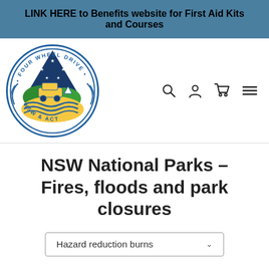LINK HERE to Benefits website for First Aid Kits and Courses
[Figure (logo): Four Wheel Drive NSW & ACT circular logo with mountain, vehicle and water imagery]
NSW National Parks – Fires, floods and park closures
Hazard reduction burns